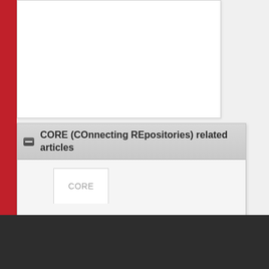[Figure (screenshot): Top white card area, partially visible, showing a content panel with border and shadow]
— CORE (COnnecting REpositories) related articles
[Figure (screenshot): CORE tab interface showing a tab labeled CORE and loading suggestions area]
Loading sugges...
Study
Undergraduate study